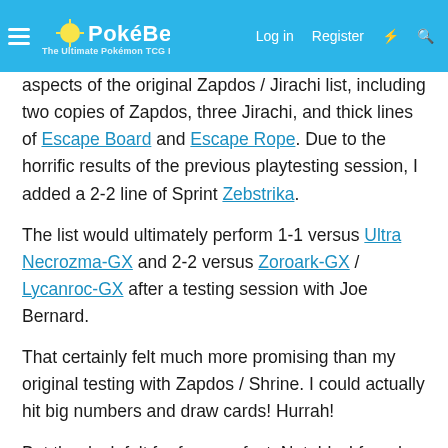PokéBeach — Log in | Register
aspects of the original Zapdos / Jirachi list, including two copies of Zapdos, three Jirachi, and thick lines of Escape Board and Escape Rope. Due to the horrific results of the previous playtesting session, I added a 2-2 line of Sprint Zebstrika.
The list would ultimately perform 1-1 versus Ultra Necrozma-GX and 2-2 versus Zoroark-GX / Lycanroc-GX after a testing session with Joe Bernard.
That certainly felt much more promising than my original testing with Zapdos / Shrine. I could actually hit big numbers and draw cards! Hurrah!
But the deck felt far from perfect. Notably, I found that Zapdos itself does not synergize with Pikachu & Zekrom-GX. You commit an Energy attachment that does not set up a Full Blitz